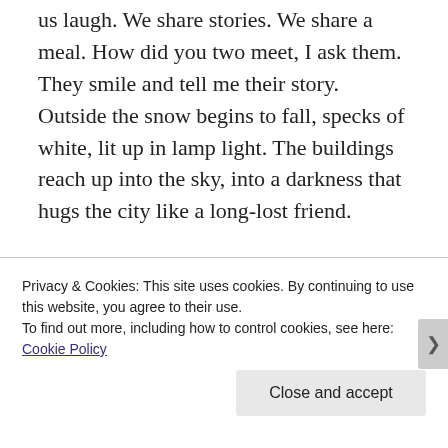us laugh. We share stories. We share a meal. How did you two meet, I ask them. They smile and tell me their story. Outside the snow begins to fall, specks of white, lit up in lamp light. The buildings reach up into the sky, into a darkness that hugs the city like a long-lost friend.

I raise my hand to brush the hair from my face. The napkin almost falls from my lap but I catch it just in time to hear a knife clatter to the
Privacy & Cookies: This site uses cookies. By continuing to use this website, you agree to their use.
To find out more, including how to control cookies, see here: Cookie Policy